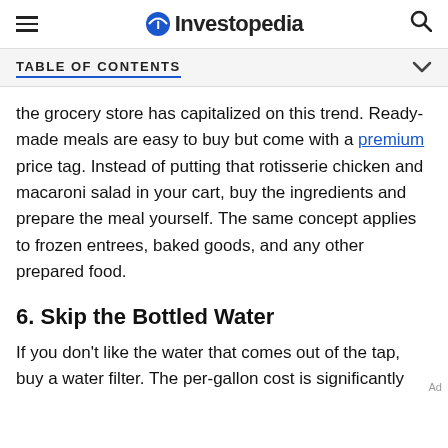Investopedia
TABLE OF CONTENTS
the grocery store has capitalized on this trend. Ready-made meals are easy to buy but come with a premium price tag. Instead of putting that rotisserie chicken and macaroni salad in your cart, buy the ingredients and prepare the meal yourself. The same concept applies to frozen entrees, baked goods, and any other prepared food.
6. Skip the Bottled Water
If you don't like the water that comes out of the tap, buy a water filter. The per-gallon cost is significantly